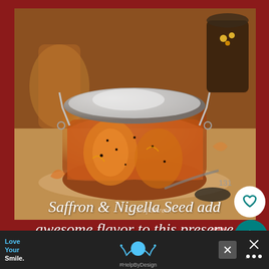[Figure (photo): A glass jar with a wire bail lid containing preserved fruit (possibly lemon or orange slices) with saffron and nigella seeds in amber liquid. Other jars and spices visible in background. Watermark reads '© Chef Mireille'.]
131
Saffron & Nigella Seed add awesome flavor to this preserve
Love Your Smile.
#HelpByDesign